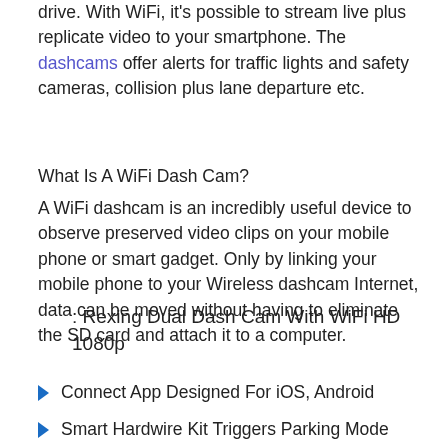drive. With WiFi, it's possible to stream live plus replicate video to your smartphone. The dashcams offer alerts for traffic lights and safety cameras, collision plus lane departure etc.
What Is A WiFi Dash Cam?
A WiFi dashcam is an incredibly useful device to observe preserved video clips on your mobile phone or smart gadget. Only by linking your mobile phone to your Wireless dashcam Internet, data can be moved without having to eliminate the SD card and attach it to a computer.
: Rexing Dual Dash Cam With WiFi HD 1080p
Connect App Designed For iOS, Android
Smart Hardwire Kit Triggers Parking Mode